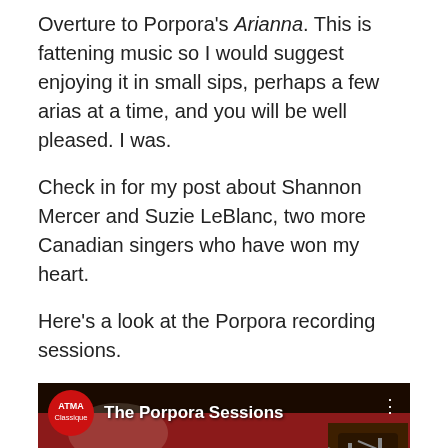Overture to Porpora's Arianna. This is fattening music so I would suggest enjoying it in small sips, perhaps a few arias at a time, and you will be well pleased. I was.
Check in for my post about Shannon Mercer and Suzie LeBlanc, two more Canadian singers who have won my heart.
Here's a look at the Porpora recording sessions.
[Figure (screenshot): YouTube video thumbnail showing 'The Porpora Sessions' by ATMA Classique. Orchestra musicians playing in a red-walled room with microphone stands visible. Red YouTube play button in center. ATMA Classique logo (red circle) in upper left.]